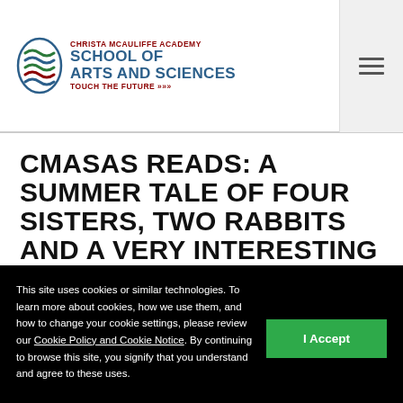Christa McAuliffe Academy School of Arts and Sciences — Touch The Future
CMASAS READS: A SUMMER TALE OF FOUR SISTERS, TWO RABBITS AND A VERY INTERESTING BOY
This site uses cookies or similar technologies. To learn more about cookies, how we use them, and how to change your cookie settings, please review our Cookie Policy and Cookie Notice. By continuing to browse this site, you signify that you understand and agree to these uses.